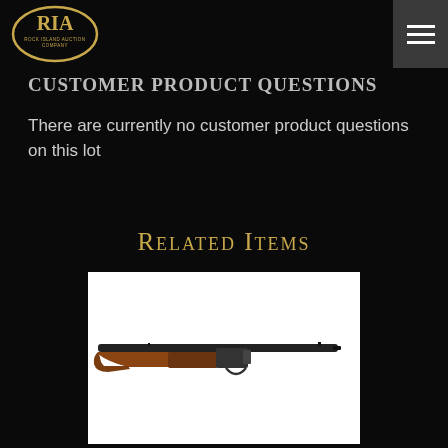[Figure (logo): RIA Rock Island Auction Company oval logo in gold/white on black background]
Customer Product Questions
There are currently no customer product questions on this lot
Related Items
[Figure (photo): Photo of a lever-action or pump-action rifle with wooden stock on white background]